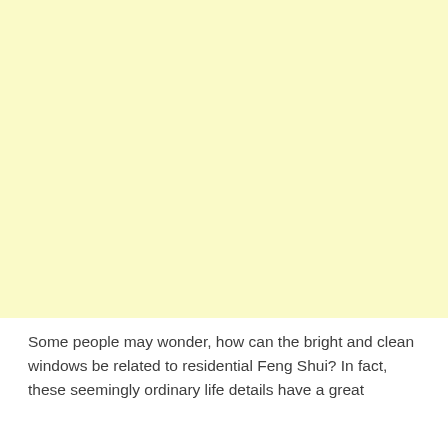[Figure (other): Large pale yellow rectangular block filling the upper portion of the page]
Some people may wonder, how can the bright and clean windows be related to residential Feng Shui? In fact, these seemingly ordinary life details have a great